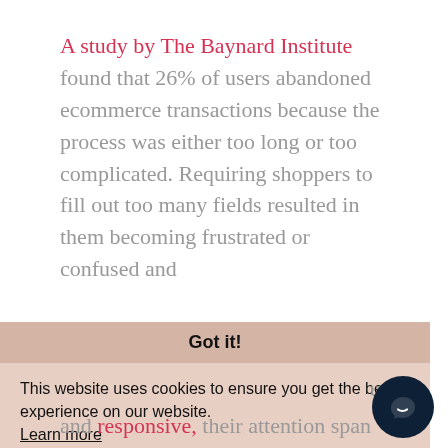A study by The Baynard Institute found that 26% of users abandoned ecommerce transactions because the process was either too long or too complicated. Requiring shoppers to fill out too many fields resulted in them becoming frustrated or confused and
Got it!
This website uses cookies to ensure you get the best experience on our website. Learn more
ur
and responsive, their attention span